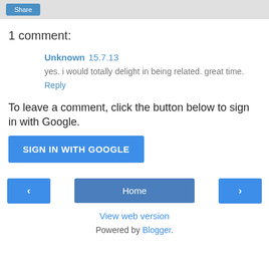Share
1 comment:
Unknown 15.7.13
yes. i would totally delight in being related. great time.
Reply
To leave a comment, click the button below to sign in with Google.
SIGN IN WITH GOOGLE
‹
Home
›
View web version
Powered by Blogger.